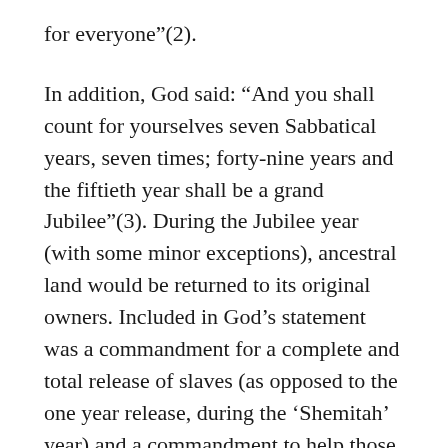for everyone”(2).
In addition, God said: “And you shall count for yourselves seven Sabbatical years, seven times; forty-nine years and the fiftieth year shall be a grand Jubilee”(3). During the Jubilee year (with some minor exceptions), ancestral land would be returned to its original owners. Included in God’s statement was a commandment for a complete and total release of slaves (as opposed to the one year release, during the ‘Shemitah’ year) and a commandment to help those in financial need. Loans were to be given when necessary, but applying interest to these loans was completely prohibited: “If one of your fellow